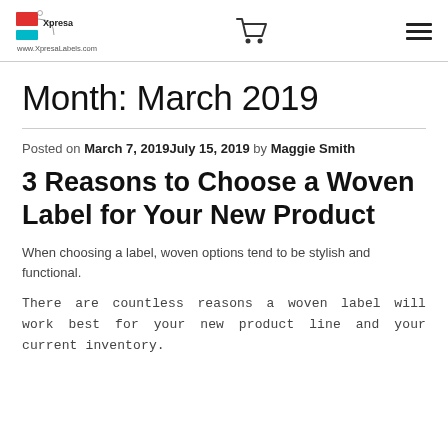Xpresa Labels | www.XpresaLabels.com
Month: March 2019
Posted on March 7, 2019July 15, 2019 by Maggie Smith
3 Reasons to Choose a Woven Label for Your New Product
When choosing a label, woven options tend to be stylish and functional.
There are countless reasons a woven label will work best for your new product line and your current inventory.